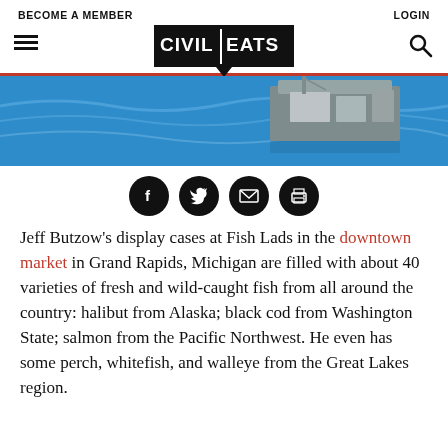BECOME A MEMBER | LOGIN
[Figure (logo): Civil Eats logo in speech bubble style, black with white text]
[Figure (photo): Aerial view of a large fishing vessel/barge on blue water]
[Figure (infographic): Social sharing icons: Facebook, Twitter, Email, Print — black circles]
Jeff Butzow's display cases at Fish Lads in the downtown market in Grand Rapids, Michigan are filled with about 40 varieties of fresh and wild-caught fish from all around the country: halibut from Alaska; black cod from Washington State; salmon from the Pacific Northwest. He even has some perch, whitefish, and walleye from the Great Lakes region.